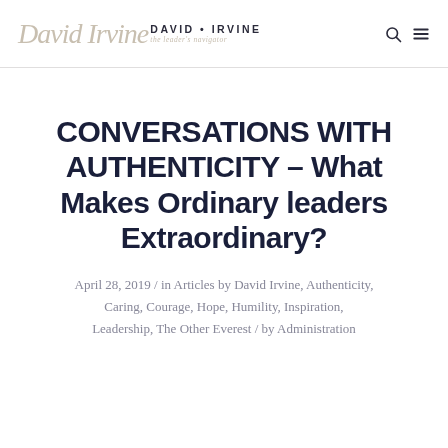David Irvine – the leader's navigator
CONVERSATIONS WITH AUTHENTICITY – What Makes Ordinary leaders Extraordinary?
April 28, 2019 / in Articles by David Irvine, Authenticity, Caring, Courage, Hope, Humility, Inspiration, Leadership, The Other Everest / by Administration